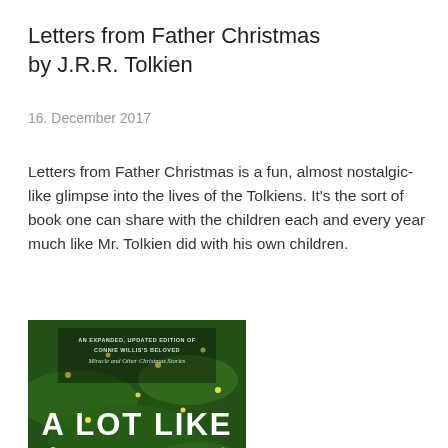Letters from Father Christmas
by J.R.R. Tolkien
16. December 2017
Letters from Father Christmas is a fun, almost nostalgic-like glimpse into the lives of the Tolkiens. It's the sort of book one can share with the children each and every year much like Mr. Tolkien did with his own children.
[Figure (photo): Book cover of 'A Lot Like Christmas' by Connie Willis. Shows a decorated Christmas tree with ornaments and lights, with the title 'A LOT LIKE CHRISTMAS' in large white letters and subtitle text at the top.]